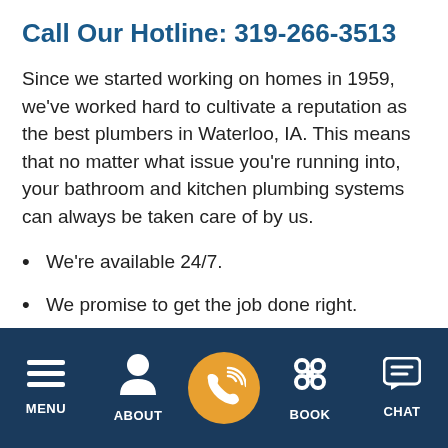Call Our Hotline: 319-266-3513
Since we started working on homes in 1959, we’ve worked hard to cultivate a reputation as the best plumbers in Waterloo, IA. This means that no matter what issue you’re running into, your bathroom and kitchen plumbing systems can always be taken care of by us.
We’re available 24/7.
We promise to get the job done right.
MENU | ABOUT | CALL | BOOK | CHAT